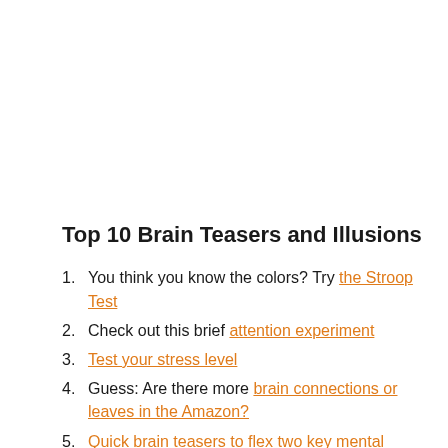Top 10 Brain Teasers and Illusions
1. You think you know the colors? Try the Stroop Test
2. Check out this brief attention experiment
3. Test your stress level
4. Guess: Are there more brain connections or leaves in the Amazon?
5. Quick brain teasers to flex two key mental muscles
6. Count the Fs in this sentence
7. Can you identify Apple's logo?